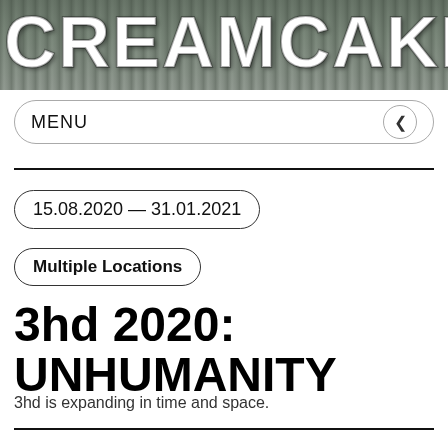CREAMCAKE
MENU
15.08.2020 — 31.01.2021
Multiple Locations
3hd 2020: UNHUMANITY
3hd is expanding in time and space.